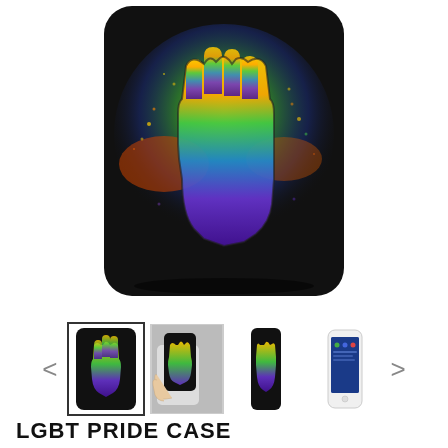[Figure (photo): Main product image of an iPhone case with LGBT Pride design featuring a raised rainbow-colored fist on a black background with colorful paint splatter effects]
[Figure (photo): Thumbnail gallery row showing 4 views of the LGBT Pride phone case: front view (selected/highlighted), hand holding the case, side view, and full phone view. Navigation arrows on left and right.]
LGBT PRIDE CASE